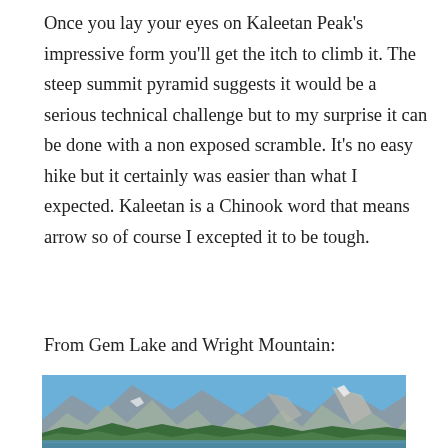Once you lay your eyes on Kaleetan Peak's impressive form you'll get the itch to climb it. The steep summit pyramid suggests it would be a serious technical challenge but to my surprise it can be done with a non exposed scramble. It's no easy hike but it certainly was easier than what I expected. Kaleetan is a Chinook word that means arrow so of course I excepted it to be tough.
From Gem Lake and Wright Mountain:
[Figure (photo): A mountain lake scene showing rocky mountain peaks with jagged summits, dense green conifer forest along the slopes, and a blue lake in the foreground under a clear blue sky.]